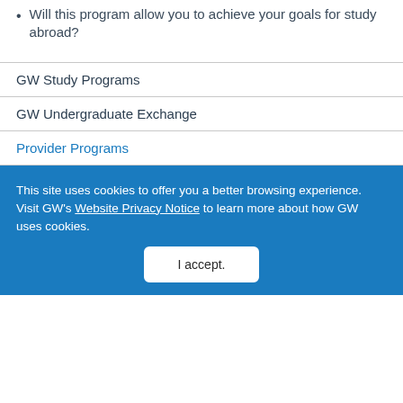Will this program allow you to achieve your goals for study abroad?
GW Study Programs
GW Undergraduate Exchange
Provider Programs
This site uses cookies to offer you a better browsing experience. Visit GW's Website Privacy Notice to learn more about how GW uses cookies.
I accept.